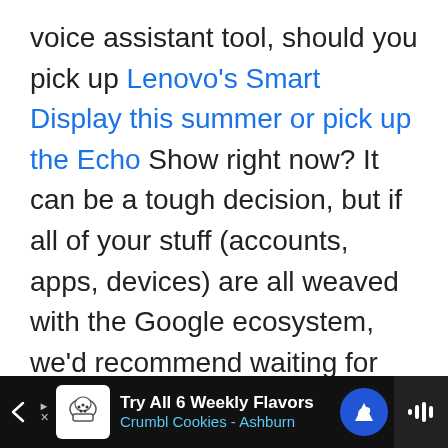voice assistant tool, should you pick up Lenovo's Smart Display this summer or pick up the Echo Show right now? It can be a tough decision, but if all of your stuff (accounts, apps, devices) are all weaved with the Google ecosystem, we'd recommend waiting for the Smart Display to come out on store shelves, as you'll get the best experience with your Google account and Google Assistant all tied together.
[Figure (other): Advertisement banner at bottom: 'Try All 6 Weekly Flavors - Crumbl Cookies - Ashburn' with cookie icon, blue navigation arrow, and mute button on dark background]